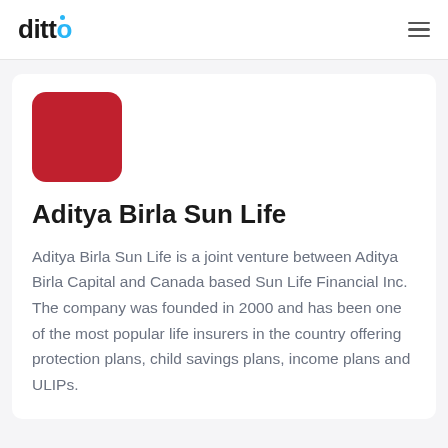ditto
[Figure (logo): Aditya Birla Sun Life company logo — a rounded square filled with dark red/crimson color]
Aditya Birla Sun Life
Aditya Birla Sun Life is a joint venture between Aditya Birla Capital and Canada based Sun Life Financial Inc. The company was founded in 2000 and has been one of the most popular life insurers in the country offering protection plans, child savings plans, income plans and ULIPs.